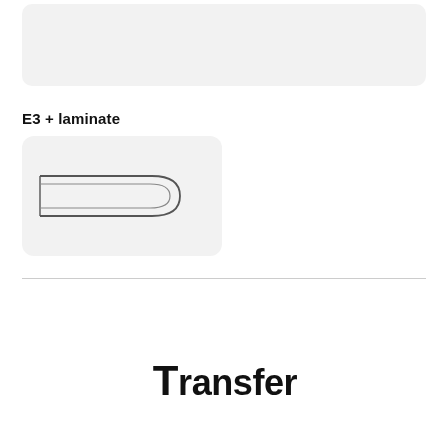[Figure (other): Light gray rounded rectangle box at the top of the page, representing an image or diagram placeholder.]
E3 + laminate
[Figure (engineering-diagram): Technical line drawing of a rounded rectangular panel/frame component shown in side/front view. Two parallel horizontal lines with rounded ends on the right side, forming a tab or frame shape, on a light gray rounded background.]
[Figure (other): Partial view of large bold text at the bottom of the page, cropped, suggesting a section heading or label beginning below the divider line.]